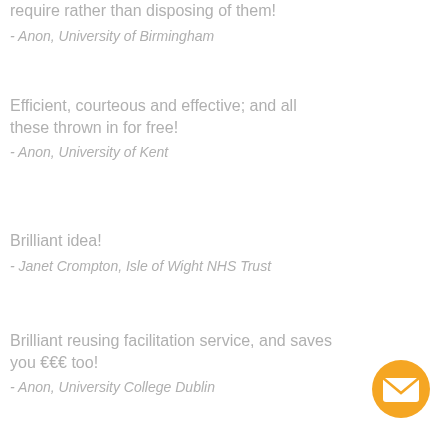require rather than disposing of them!
- Anon, University of Birmingham
Efficient, courteous and effective; and all these thrown in for free!
- Anon, University of Kent
Brilliant idea!
- Janet Crompton, Isle of Wight NHS Trust
Brilliant reusing facilitation service, and saves you €€€ too!
- Anon, University College Dublin
[Figure (illustration): Orange circular email/envelope icon in bottom right corner]